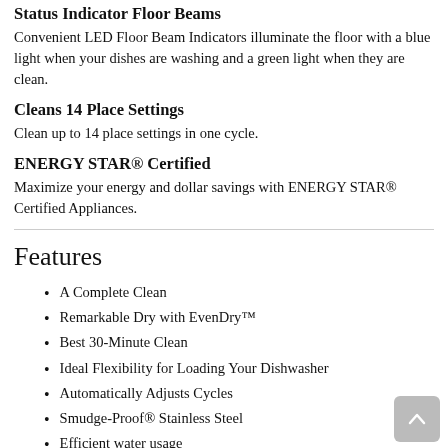Status Indicator Floor Beams
Convenient LED Floor Beam Indicators illuminate the floor with a blue light when your dishes are washing and a green light when they are clean.
Cleans 14 Place Settings
Clean up to 14 place settings in one cycle.
ENERGY STAR® Certified
Maximize your energy and dollar savings with ENERGY STAR® Certified Appliances.
Features
A Complete Clean
Remarkable Dry with EvenDry™
Best 30-Minute Clean
Ideal Flexibility for Loading Your Dishwasher
Automatically Adjusts Cycles
Smudge-Proof® Stainless Steel
Efficient water usage